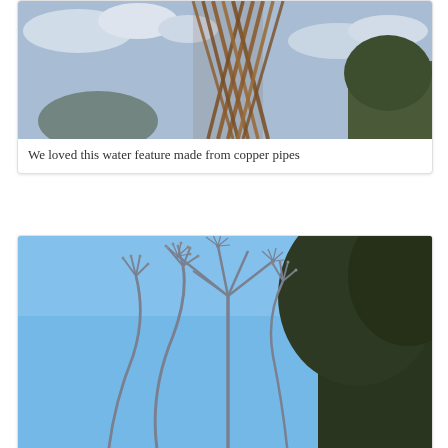[Figure (photo): Partial view of a copper pipe water feature sculpture against a blue sky with clouds and trees]
We loved this water feature made from copper pipes
[Figure (photo): Looking up at dried hogweed or similar tall umbellifer seed heads against a bright blue sky, with dark tree foliage on the right]
The garden is huge and although we did arrive in the early afternoon we also soon realised that one visit would not be enough to see everything. We wandered around in a casual pace and we felt so relaxed and simply enjoyed just being